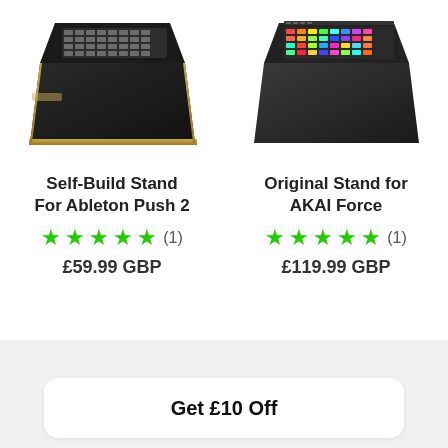[Figure (photo): Photo of Self-Build Stand for Ableton Push 2 - a black and gold angled stand with a grid pad controller on top, viewed from the front-left]
[Figure (photo): Photo of Original Stand for AKAI Force - a black angled stand with colorful RGB pads on top, viewed from the front-left]
Self-Build Stand For Ableton Push 2
★★★★★ (1)
£59.99 GBP
Original Stand for AKAI Force
★★★★★ (1)
£119.99 GBP
Get £10 Off